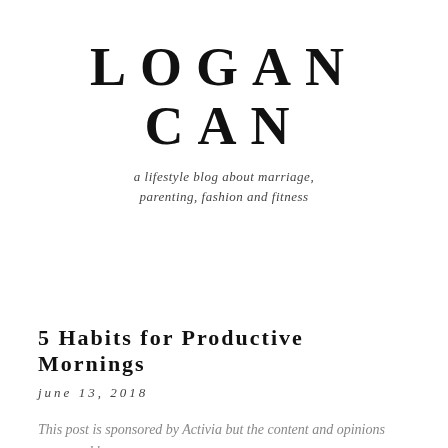LOGAN CAN
a lifestyle blog about marriage, parenting, fashion and fitness
5 Habits for Productive Mornings
june 13, 2018
This post is sponsored by Activia but the content and opinions expressed here are my own.
Since the start of summer, I have had to completely